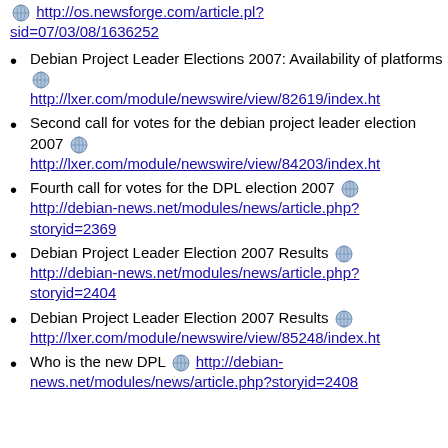http://os.newsforge.com/article.pl?sid=07/03/08/1636252
Debian Project Leader Elections 2007: Availability of platforms http://lxer.com/module/newswire/view/82619/index.ht
Second call for votes for the debian project leader election 2007 http://lxer.com/module/newswire/view/84203/index.ht
Fourth call for votes for the DPL election 2007 http://debian-news.net/modules/news/article.php?storyid=2369
Debian Project Leader Election 2007 Results http://debian-news.net/modules/news/article.php?storyid=2404
Debian Project Leader Election 2007 Results http://lxer.com/module/newswire/view/85248/index.ht
Who is the new DPL http://debian-news.net/modules/news/article.php?storyid=2408